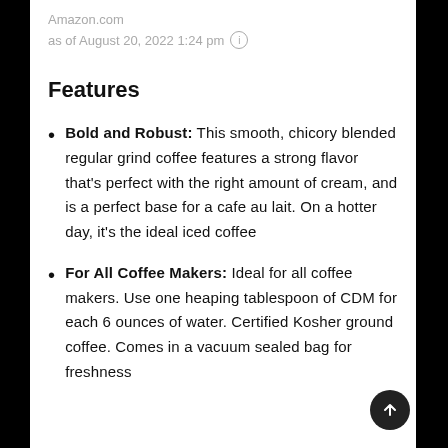Amazon.com
as of August 20, 2022 1:24 pm ℹ
Features
Bold and Robust: This smooth, chicory blended regular grind coffee features a strong flavor that's perfect with the right amount of cream, and is a perfect base for a cafe au lait. On a hotter day, it's the ideal iced coffee
For All Coffee Makers: Ideal for all coffee makers. Use one heaping tablespoon of CDM for each 6 ounces of water. Certified Kosher ground coffee. Comes in a vacuum sealed bag for freshness